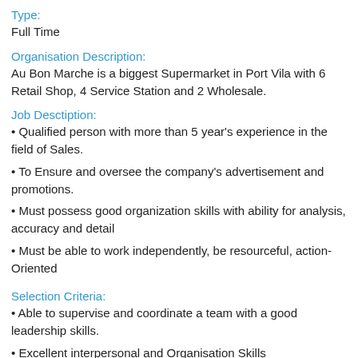Type:
Full Time
Organisation Description:
Au Bon Marche is a biggest Supermarket in Port Vila with 6 Retail Shop, 4 Service Station and 2 Wholesale.
Job Desctiption:
• Qualified person with more than 5 year's experience in the field of Sales.
• To Ensure and oversee the company's advertisement and promotions.
• Must possess good organization skills with ability for analysis, accuracy and detail
• Must be able to work independently, be resourceful, action-Oriented
Selection Criteria:
• Able to supervise and coordinate a team with a good leadership skills.
• Excellent interpersonal and Organisation Skills